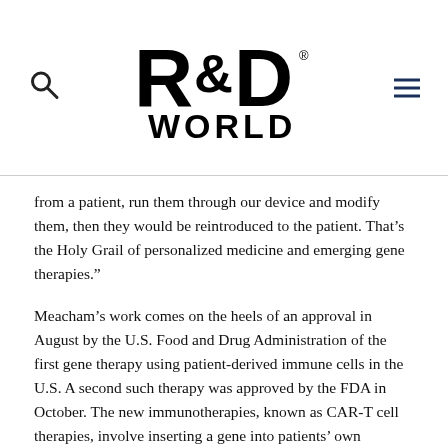R&D WORLD
from a patient, run them through our device and modify them, then they would be reintroduced to the patient. That’s the Holy Grail of personalized medicine and emerging gene therapies."
Meacham’s work comes on the heels of an approval in August by the U.S. Food and Drug Administration of the first gene therapy using patient-derived immune cells in the U.S. A second such therapy was approved by the FDA in October. The new immunotherapies, known as CAR-T cell therapies, involve inserting a gene into patients’ own immune cells, which helps those cells home in on and attack cancer cells.
The therapies are approved to treat pediatric patients up to age 25 with a form of acute lymphoblastic leukemia (ALL) and adults with certain types of advanced non-Hodgkin lymphoma. Washington University oncologists provide the therapies to patients through